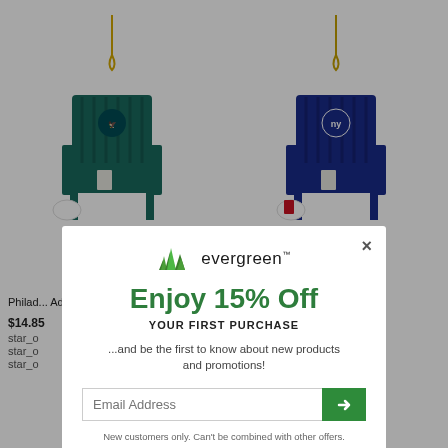[Figure (photo): Philadelphia Eagles Adirondack chair Christmas ornament with gold hanging string, teal/dark green chair with Eagles logo, white plate and items beside it]
[Figure (photo): New York Giants Adirondack chair Christmas ornament with gold hanging string, blue chair with NY Giants logo, white and red items beside it]
Philadelphia ... Adirondack
...ndack
$14.85
star_o star_o ... ine
star_o star_o ... ine
star_o ... ine
[Figure (screenshot): Evergreen popup modal offering 15% off first purchase with email signup field]
Enjoy 15% Off
YOUR FIRST PURCHASE
...and be the first to know about new products and promotions!
Email Address
New customers only. Can't be combined with other offers.